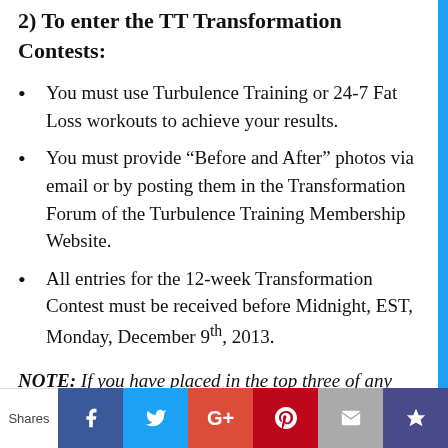2) To enter the TT Transformation Contests:
You must use Turbulence Training or 24-7 Fat Loss workouts to achieve your results.
You must provide “Before and After” photos via email or by posting them in the Transformation Forum of the Turbulence Training Membership Website.
All entries for the 12-week Transformation Contest must be received before Midnight, EST, Monday, December 9th, 2013.
NOTE: If you have placed in the top three of any previous Turbulence Training Transformation Contests then you are no longer eligible to enter